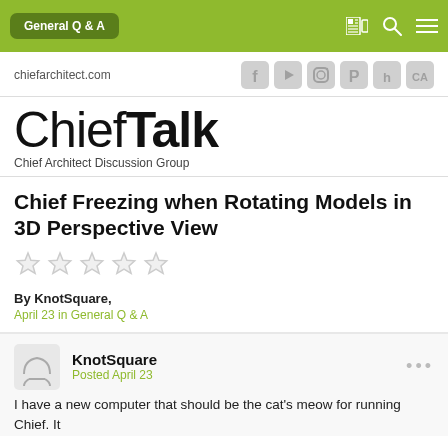General Q & A
chiefarchitect.com
ChiefTalk
Chief Architect Discussion Group
Chief Freezing when Rotating Models in 3D Perspective View
By KnotSquare,
April 23 in General Q & A
KnotSquare
Posted April 23
I have a new computer that should be the cat's meow for running Chief. It